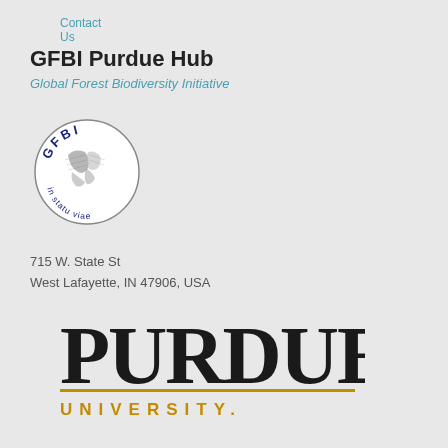Contact Us
GFBI Purdue Hub
Global Forest Biodiversity Initiative
[Figure (logo): GFBI circular logo with globe illustration and text 'GFBI' arched at top and 'in statu viae' arched at bottom]
715 W. State St
West Lafayette, IN 47906, USA
[Figure (logo): Purdue University logo with large black serif 'PURDUE' text, a gold horizontal rule, and 'UNIVERSITY.' in gold spaced capitals below]